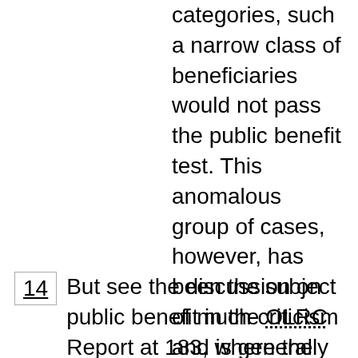upheld, where in all other categories, such a narrow class of beneficiaries would not pass the public benefit test. This anomalous group of cases, however, has been the subject of much criticism and is generally considered to be a reflection of the social and economic conditions of their time. Whether or not such cases would survive the scrutiny of the court today is questionable.
14  But see the discussion on public benefit in the OLRC Report at 183, where the variation in standard is...